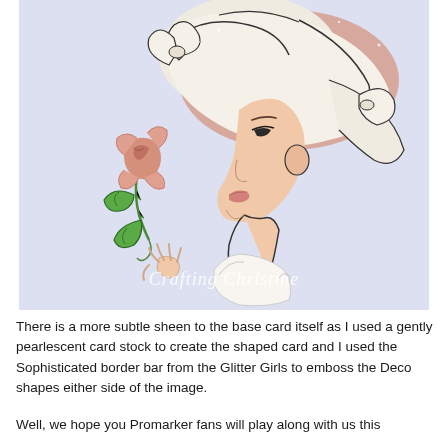[Figure (illustration): Illustrated vintage-style woman in profile view wearing a large white ruffled hat with pink accents, holding a pink rose with green leaves. Watermark text 'Crafting Christine' overlaid on image. Background is light lavender/blue.]
There is a more subtle sheen to the base card itself as I used a gently pearlescent card stock to create the shaped card and I used the Sophisticated border bar from the Glitter Girls to emboss the Deco shapes either side of the image.
Well, we hope you Promarker fans will play along with us this